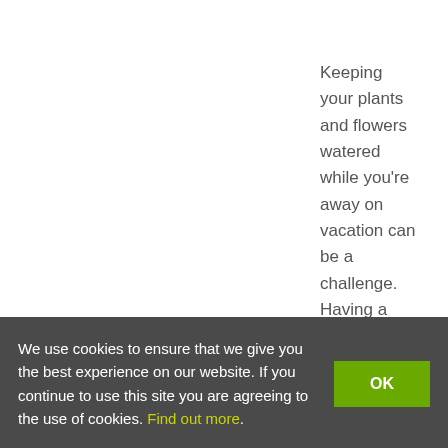Keeping your plants and flowers watered while you're away on vacation can be a challenge. Having a friend or neighbor water your plants doesn't always work out. Praying for rain also doesn't always work.  This post by Stephanie offers several solutions.
As she says:
“Summer is the perfect time for weekend getaways like camping, cottaging,
We use cookies to ensure that we give you the best experience on our website. If you continue to use this site you are agreeing to the use of cookies. Find out more.